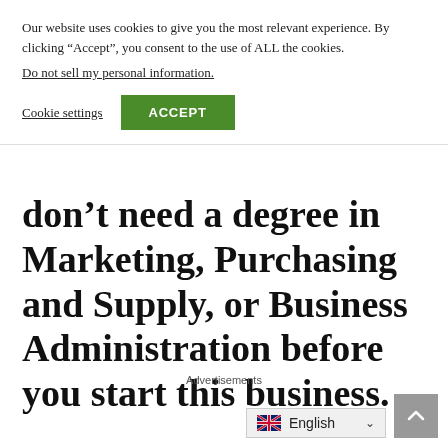Our website uses cookies to give you the most relevant experience. By clicking “Accept”, you consent to the use of ALL the cookies.
Do not sell my personal information.
Cookie settings
ACCEPT
don’t need a degree in Marketing, Purchasing and Supply, or Business Administration before you start this business.
Advertisements